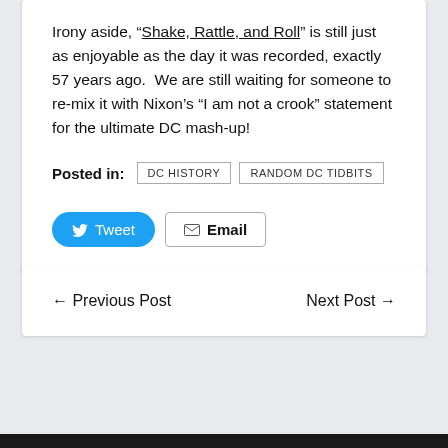Irony aside, “Shake, Rattle, and Roll” is still just as enjoyable as the day it was recorded, exactly 57 years ago.  We are still waiting for someone to re-mix it with Nixon’s “I am not a crook” statement for the ultimate DC mash-up!
Posted in: DC HISTORY  RANDOM DC TIDBITS
Tweet  Email
← Previous Post    Next Post →